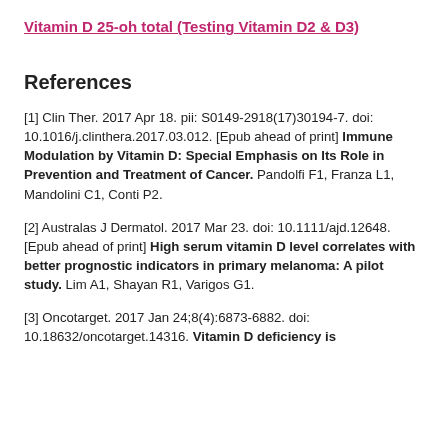Vitamin D 25-oh total (Testing Vitamin D2 & D3)
References
[1] Clin Ther. 2017 Apr 18. pii: S0149-2918(17)30194-7. doi: 10.1016/j.clinthera.2017.03.012. [Epub ahead of print] Immune Modulation by Vitamin D: Special Emphasis on Its Role in Prevention and Treatment of Cancer. Pandolfi F1, Franza L1, Mandolini C1, Conti P2.
[2] Australas J Dermatol. 2017 Mar 23. doi: 10.1111/ajd.12648. [Epub ahead of print] High serum vitamin D level correlates with better prognostic indicators in primary melanoma: A pilot study. Lim A1, Shayan R1, Varigos G1.
[3] Oncotarget. 2017 Jan 24;8(4):6873-6882. doi: 10.18632/oncotarget.14316. Vitamin D deficiency is